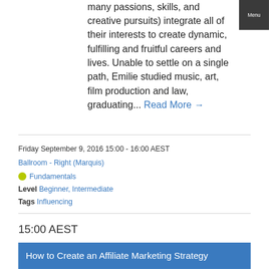many passions, skills, and creative pursuits) integrate all of their interests to create dynamic, fulfilling and fruitful careers and lives. Unable to settle on a single path, Emilie studied music, art, film production and law, graduating... Read More →
Menu
Friday September 9, 2016 15:00 - 16:00 AEST
Ballroom - Right (Marquis)
Fundamentals
Level Beginner, Intermediate
Tags Influencing
15:00 AEST
How to Create an Affiliate Marketing Strategy